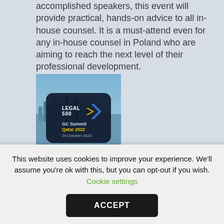accomplished speakers, this event will provide practical, hands-on advice to all in-house counsel. It is a must-attend even for any in-house counsel in Poland who are aiming to reach the next level of their professional development.
[Figure (logo): Legal 500 GC Summit Qatar 2022 event image with skyline background and logos. Text: GC Summit Qatar 2022, 24 October 2022]
GC Summit Qatar 2022
This website uses cookies to improve your experience. We'll assume you're ok with this, but you can opt-out if you wish. Cookie settings
ACCEPT